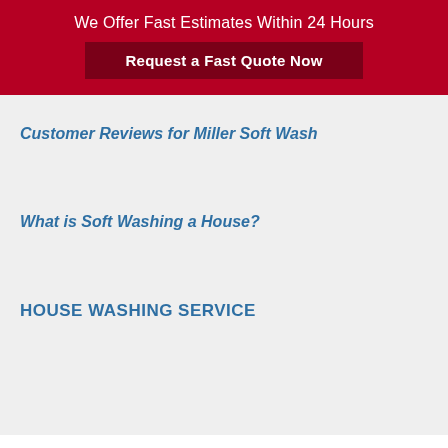We Offer Fast Estimates Within 24 Hours
Request a Fast Quote Now
Customer Reviews for Miller Soft Wash
What is Soft Washing a House?
HOUSE WASHING SERVICE